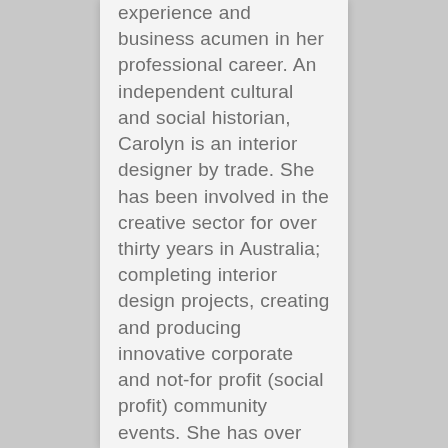experience and business acumen in her professional career. An independent cultural and social historian, Carolyn is an interior designer by trade. She has been involved in the creative sector for over thirty years in Australia; completing interior design projects, creating and producing innovative corporate and not-for profit (social profit) community events. She has over that time continuously conducted independent research , while thinking about the